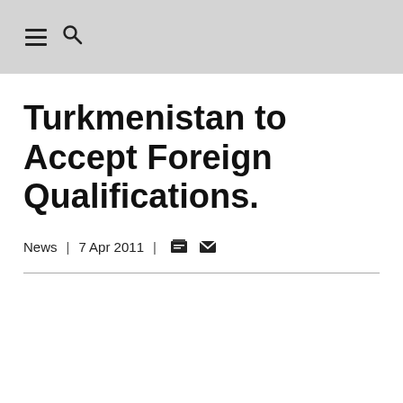≡ 🔍
Turkmenistan to Accept Foreign Qualifications.
News  |  7 Apr 2011  |  🖨 ✉